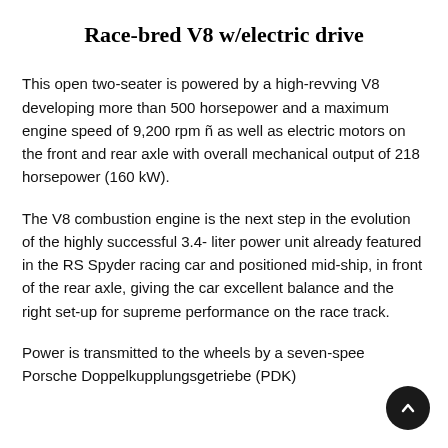Race-bred V8 w/electric drive
This open two-seater is powered by a high-revving V8 developing more than 500 horsepower and a maximum engine speed of 9,200 rpm ñ as well as electric motors on the front and rear axle with overall mechanical output of 218 horsepower (160 kW).
The V8 combustion engine is the next step in the evolution of the highly successful 3.4- liter power unit already featured in the RS Spyder racing car and positioned mid-ship, in front of the rear axle, giving the car excellent balance and the right set-up for supreme performance on the race track.
Power is transmitted to the wheels by a seven-speed Porsche Doppelkupplungsgetriebe (PDK)